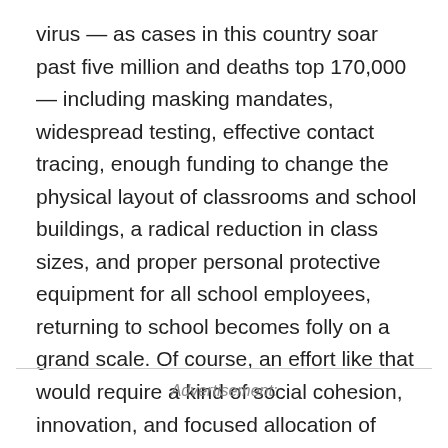virus — as cases in this country soar past five million and deaths top 170,000 — including masking mandates, widespread testing, effective contact tracing, enough funding to change the physical layout of classrooms and school buildings, a radical reduction in class sizes, and proper personal protective equipment for all school employees, returning to school becomes folly on a grand scale. Of course, an effort like that would require a kind of social cohesion, innovation, and focused allocation of resources that, by definition, is nonexistent in the age of Trump.
Advertisement: